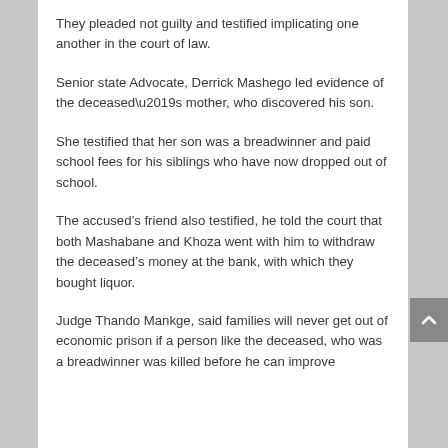They pleaded not guilty and testified implicating one another in the court of law.
Senior state Advocate, Derrick Mashego led evidence of the deceased’s mother, who discovered his son.
She testified that her son was a breadwinner and paid school fees for his siblings who have now dropped out of school.
The accused’s friend also testified, he told the court that both Mashabane and Khoza went with him to withdraw the deceased’s money at the bank, with which they bought liquor.
Judge Thando Mankge, said families will never get out of economic prison if a person like the deceased, who was a breadwinner was killed before he can improve the lives of his family.